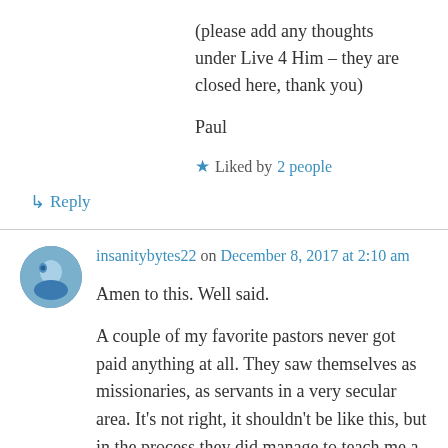(please add any thoughts under Live 4 Him – they are closed here, thank you)
Paul
★ Liked by 2 people
↳ Reply
insanitybytes22 on December 8, 2017 at 2:10 am
Amen to this. Well said.
A couple of my favorite pastors never got paid anything at all. They saw themselves as missionaries, as servants in a very secular area. It's not right, it shouldn't be like this, but in the process they did manage to teach me a few